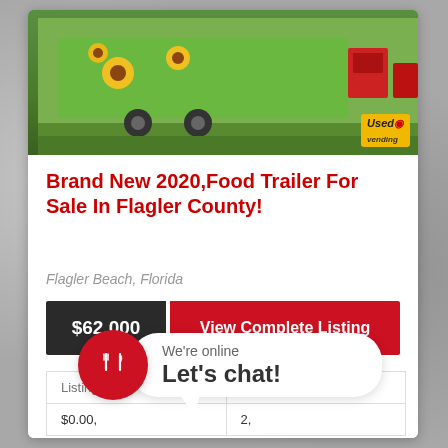[Figure (photo): Photo of a green food trailer/truck with sunflower graphics, parked on grass. UsedVending logo visible in bottom right corner of photo.]
Brand New 2020,Food Trailer For Sale In Flagler County!
Flagler Beach, Florida
$62,000
View Complete Listing
| Listing Id: | Lease Term: |
| --- | --- |
| $0.00, | 2, |
[Figure (illustration): Chat widget bubble with red circle icon showing fork and knife utensils, and speech bubble saying 'We're online Let's chat!']